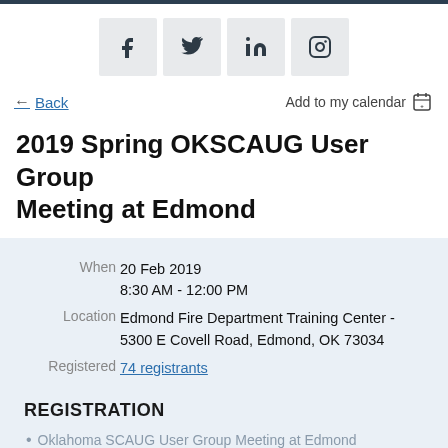[Figure (other): Social media icons: Facebook, Twitter, LinkedIn, Instagram]
← Back
Add to my calendar 📅
2019 Spring OKSCAUG User Group Meeting at Edmond
| When | 20 Feb 2019
8:30 AM - 12:00 PM |
| Location | Edmond Fire Department Training Center - 5300 E Covell Road, Edmond, OK 73034 |
| Registered | 74 registrants |
REGISTRATION
Oklahoma SCAUG User Group Meeting at Edmond